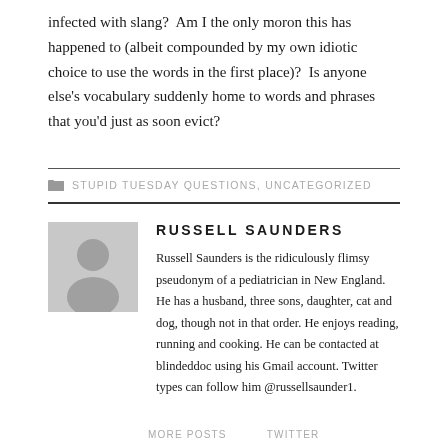infected with slang?  Am I the only moron this has happened to (albeit compounded by my own idiotic choice to use the words in the first place)?  Is anyone else's vocabulary suddenly home to words and phrases that you'd just as soon evict?
STUPID TUESDAY QUESTIONS, UNCATEGORIZED
RUSSELL SAUNDERS
Russell Saunders is the ridiculously flimsy pseudonym of a pediatrician in New England. He has a husband, three sons, daughter, cat and dog, though not in that order. He enjoys reading, running and cooking. He can be contacted at blindeddoc using his Gmail account. Twitter types can follow him @russellsaunder1.
MORE POSTS    TWITTER